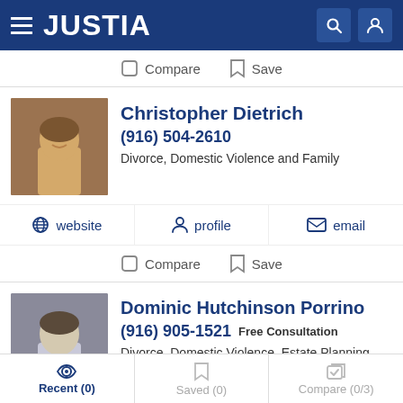JUSTIA
Compare  Save
Christopher Dietrich
(916) 504-2610
Divorce, Domestic Violence and Family
website  profile  email
Compare  Save
Dominic Hutchinson Porrino
(916) 905-1521  Free Consultation
Divorce, Domestic Violence, Estate Planning and Family
Recent (0)  Saved (0)  Compare (0/3)